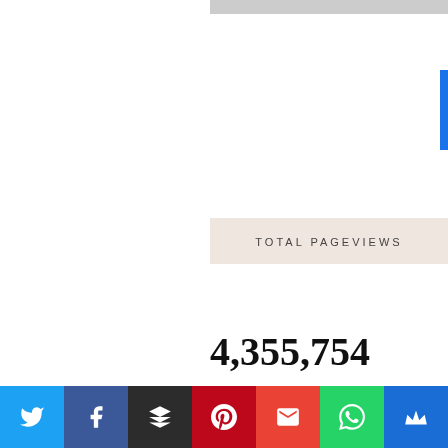TOTAL PAGEVIEWS
4,355,754
Created with ♥ by beautytemplates | Distributed by blogger templates